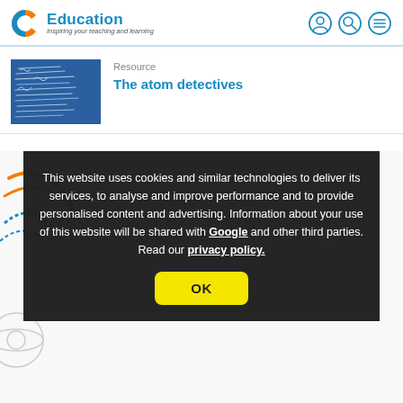C Education - Inspiring your teaching and learning
Resource
The atom detectives
[Figure (screenshot): Cookie consent overlay on an Education website. Dark semi-transparent background with white text reading: 'This website uses cookies and similar technologies to deliver its services, to analyse and improve performance and to provide personalised content and advertising. Information about your use of this website will be shared with Google and other third parties. Read our privacy policy.' with a yellow OK button.]
This website uses cookies and similar technologies to deliver its services, to analyse and improve performance and to provide personalised content and advertising. Information about your use of this website will be shared with Google and other third parties. Read our privacy policy.